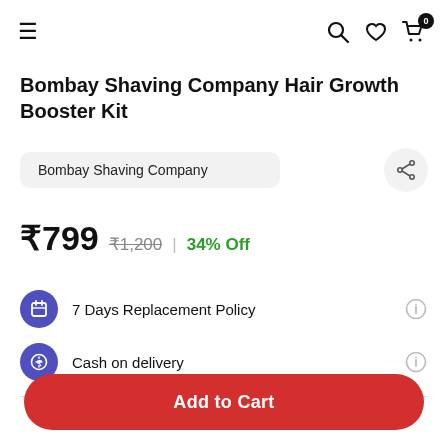≡  [search] [heart] [cart 0]
Bombay Shaving Company Hair Growth Booster Kit
Bombay Shaving Company
₹799  ₹1,200  |  34% Off
7 Days Replacement Policy
Cash on delivery
Add to Cart